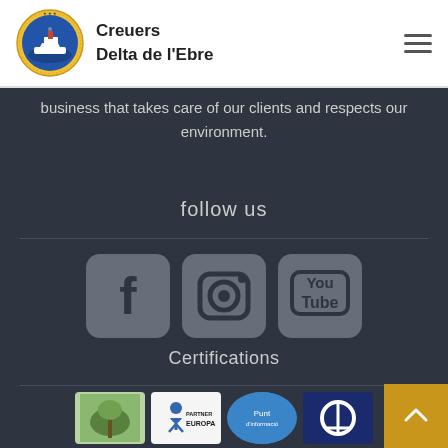[Figure (logo): Creuers Delta de l'Ebre circular logo with a ship and decorative border]
Creuers Delta de l'Ebre
[Figure (other): Hamburger menu icon (three horizontal lines)]
business that takes care of our clients and respects our environment.
follow us
[Figure (other): Social media icons: Facebook, Instagram, YouTube]
Certifications
[Figure (other): Four certification logos: green/plant logo, EUROPARC partner logo, blue Punt d'informació logo, and TUV/certification logo]